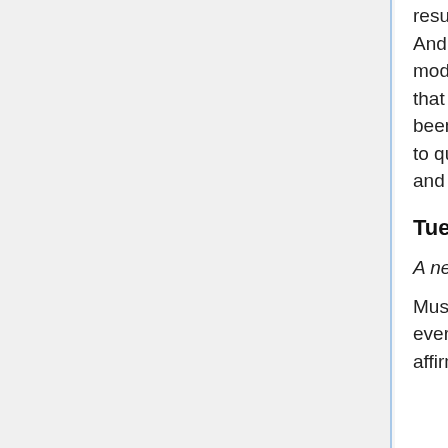result. Surprisingly, Dyson's combinatorial rank function, the Andrews-Garvan crank functions, mock theta functions, and quantum modular forms, all play key roles. Along these lines, we also show that the Rogers-Fine false theta functions, functions that have not been well understood within the theory of modular forms, specialize to quantum modular forms. This is joint work with K. Ono (Emory U.) and R.C. Rhoades (Stanford U.).
Tues, Jan 15, B139: Lillian Pierce (Oxford)
A new twist on the Carleson operator
Must the Fourier series of an L^2 function converge pointwise almost everywhere? In the 1960's, Carleson answered this question in the affirmative...